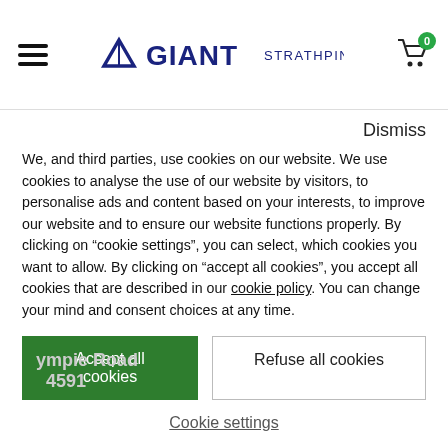Giant Strathpine — navigation header with hamburger menu, logo, and cart (0 items)
Dismiss
We, and third parties, use cookies on our website. We use cookies to analyse the use of our website by visitors, to personalise ads and content based on your interests, to improve our website and to ensure our website functions properly. By clicking on “cookie settings”, you can select, which cookies you want to allow. By clicking on “accept all cookies”, you accept all cookies that are described in our cookie policy. You can change your mind and consent choices at any time.
Accept all cookies
Refuse all cookies
Cookie settings